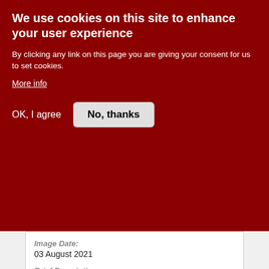We use cookies on this site to enhance your user experience
By clicking any link on this page you are giving your consent for us to set cookies.
More info
OK, I agree
No, thanks
Image Date:
03 August 2021
Brief Description:
Culvert 302470 - Context view from west
Are there any Image Notes?:
Yes
Contributor's Ref:
N/A.
Open image page
Uploaded on 2021-08-07
[Figure (photo): Landscape photo, partially visible at bottom of page]